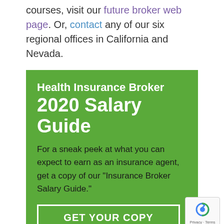courses, visit our future broker web page. Or, contact any of our six regional offices in California and Nevada.
[Figure (infographic): Green promotional box for Health Insurance Broker 2020 Salary Guide with body text and a GET YOUR COPY button]